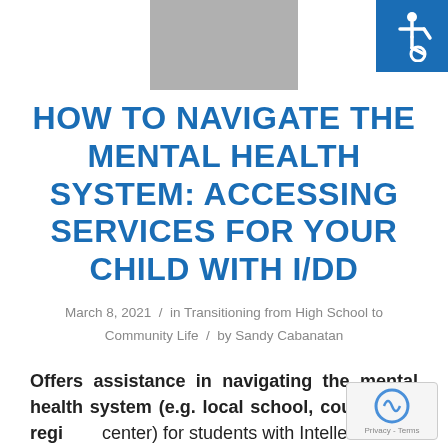[Figure (photo): Partial header image, gray background thumbnail]
[Figure (logo): Accessibility icon: person in wheelchair on blue background]
HOW TO NAVIGATE THE MENTAL HEALTH SYSTEM: ACCESSING SERVICES FOR YOUR CHILD WITH I/DD
March 8, 2021 / in Transitioning from High School to Community Life / by Sandy Cabanatan
Offers assistance in navigating the mental health system (e.g. local school, county and regional center) for students with Intellectual and Developmental Disabilities (I/DD) who are...